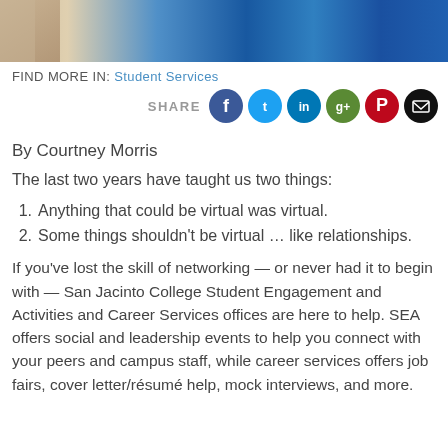[Figure (photo): Cropped photo showing a student at a table with a blue tablecloth and San Jacinto College signage]
FIND MORE IN: Student Services
[Figure (infographic): Share row with social media icons: Facebook, Twitter, LinkedIn, Google+, Pinterest, Email]
By Courtney Morris
The last two years have taught us two things:
Anything that could be virtual was virtual.
Some things shouldn't be virtual … like relationships.
If you've lost the skill of networking — or never had it to begin with — San Jacinto College Student Engagement and Activities and Career Services offices are here to help. SEA offers social and leadership events to help you connect with your peers and campus staff, while career services offers job fairs, cover letter/résumé help, mock interviews, and more.